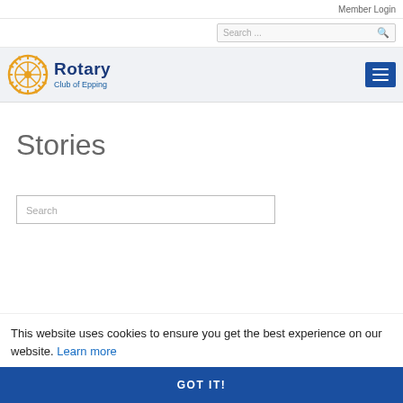Member Login
[Figure (logo): Rotary Club of Epping logo with orange gear/wheel icon and dark blue text]
Stories
This website uses cookies to ensure you get the best experience on our website. Learn more
GOT IT!